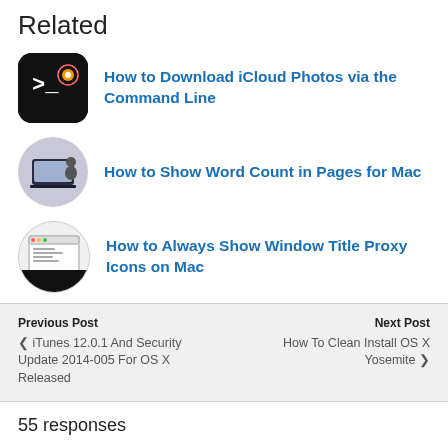Related
How to Download iCloud Photos via the Command Line
How to Show Word Count in Pages for Mac
How to Always Show Window Title Proxy Icons on Mac
Previous Post
❮ iTunes 12.0.1 And Security Update 2014-005 For OS X Released
Next Post
How To Clean Install OS X Yosemite ❯
55 responses